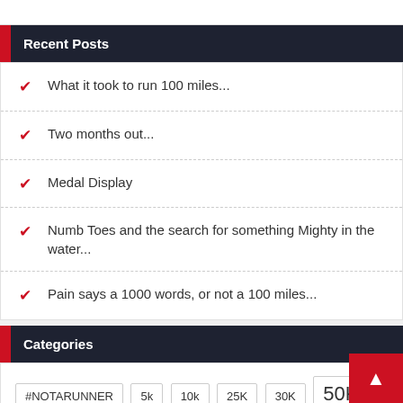Recent Posts
What it took to run 100 miles...
Two months out...
Medal Display
Numb Toes and the search for something Mighty in the water...
Pain says a 1000 words, or not a 100 miles...
Categories
#NOTARUNNER  5k  10k  25K  30K  50K  50M  100M  Endurance Race  Ener...